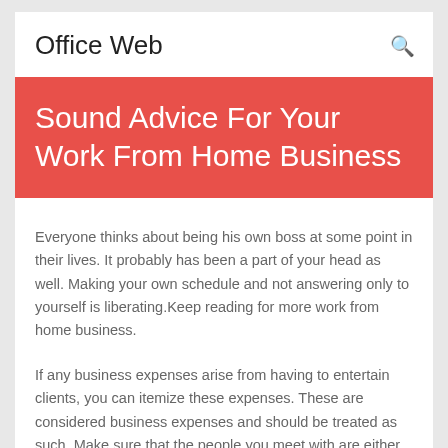Office Web
Sound Advice For Your Work From Home Business
Everyone thinks about being his own boss at some point in their lives. It probably has been a part of your head as well. Making your own schedule and not answering only to yourself is liberating.Keep reading for more work from home business.
If any business expenses arise from having to entertain clients, you can itemize these expenses. These are considered business expenses and should be treated as such. Make sure that the people you meet with are either already clients or potential clients, otherwise these expenses are not tax deductible.